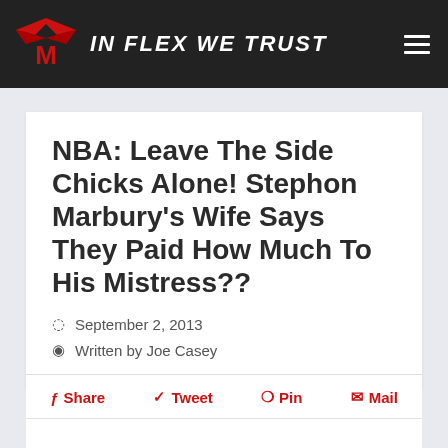IN FLEX WE TRUST
NBA: Leave The Side Chicks Alone! Stephon Marbury’s Wife Says They Paid How Much To His Mistress??
September 2, 2013
Written by Joe Casey
Share  Tweet  Pin  Mail